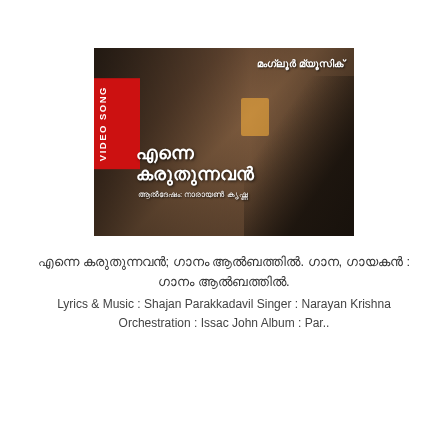[Figure (screenshot): Video thumbnail for a Malayalam Christian devotional song. Black background with an image of Jesus knocking on a door (painting style), a man's face on the right side, a red 'VIDEO SONG' vertical banner on the left, Malayalam title text 'എന്നെ കരുതുന്നവൻ', singer credit in Malayalam, and 'മംഗ്ലൂർ മ്യൂസിക്' logo at top right.]
എന്നെ കരുതുന്നവൻ; ഗാനം ആൽബത്തിൽ. ഗാന, ഗായകൻ : ഗാനം ആൽബത്തിൽ. Lyrics & Music : Shajan Parakkadavil Singer : Narayan Krishna Orchestration : Issac John Album : Par..